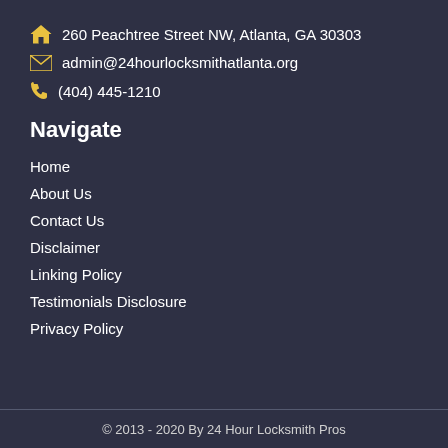260 Peachtree Street NW, Atlanta, GA 30303
admin@24hourlocksmithatlanta.org
(404) 445-1210
Navigate
Home
About Us
Contact Us
Disclaimer
Linking Policy
Testimonials Disclosure
Privacy Policy
© 2013 - 2020 By 24 Hour Locksmith Pros